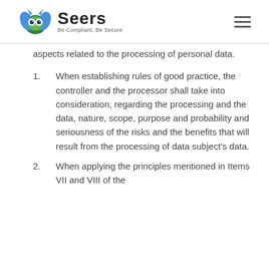Seers — Be Compliant, Be Secure
aspects related to the processing of personal data.
1. When establishing rules of good practice, the controller and the processor shall take into consideration, regarding the processing and the data, nature, scope, purpose and probability and seriousness of the risks and the benefits that will result from the processing of data subject's data.
2. When applying the principles mentioned in Items VII and VIII of the